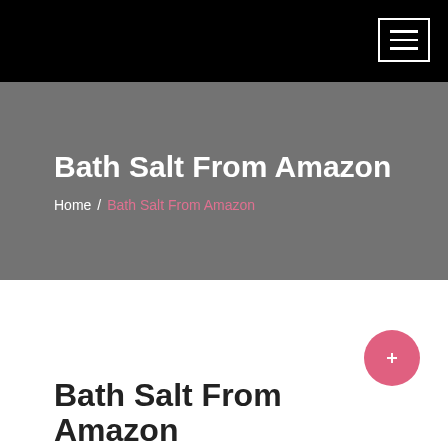Navigation bar with hamburger menu
Bath Salt From Amazon
Home / Bath Salt From Amazon
Bath Salt From Amazon